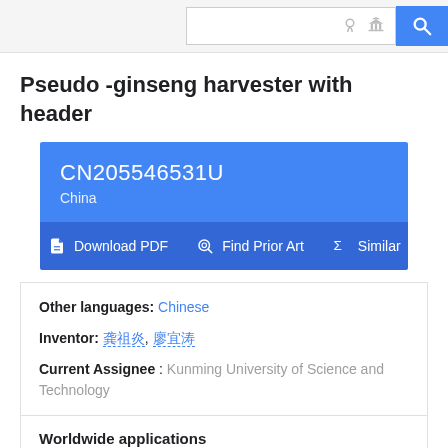Search bar with icons
Pseudo -ginseng harvester with header
CN205546531U
China
Download PDF  Find Prior Art  Similar
Other languages: Chinese
Inventor: 龚祖炎, 廖宜涛
Current Assignee : Kunming University of Science and Technology
Worldwide applications
2016 · CN